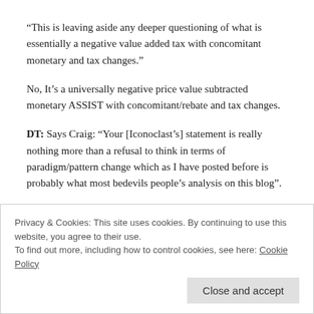“This is leaving aside any deeper questioning of what is essentially a negative value added tax with concomitant monetary and tax changes.”
No, It’s a universally negative price value subtracted monetary ASSIST with concomitant/rebate and tax changes.
DT: Says Craig: “Your [Iconoclast’s] statement is really nothing more than a refusal to think in terms of paradigm/pattern change which as I have posted before is probably what most bedevils people’s analysis on this blog”.
Not true of me, and at least I understand what is meant by the terms ‘paradigm’ and complexity. Craig is left “hoist by his own
Privacy & Cookies: This site uses cookies. By continuing to use this website, you agree to their use.
To find out more, including how to control cookies, see here: Cookie Policy
Close and accept